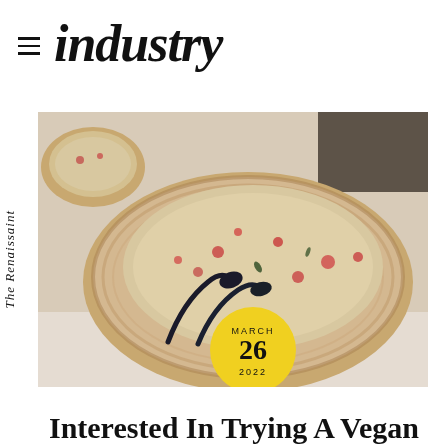industry
The Renaissaint
[Figure (photo): A wooden bowl filled with a colorful grain and vegetable salad, possibly tabbouleh or quinoa salad with pomegranate seeds and herbs, with black serving spoons. A date badge overlay reads MARCH 26 2022.]
Interested In Trying A Vegan